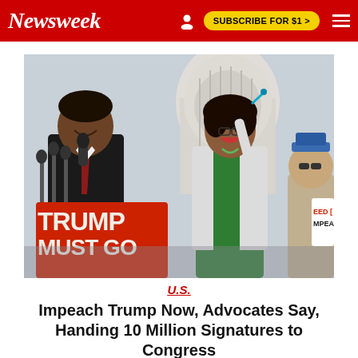Newsweek | SUBSCRIBE FOR $1 >
[Figure (photo): Two people standing outside the US Capitol building at a press conference. A man in a dark suit speaks at a podium with multiple microphones, behind a red sign reading 'TRUMP MUST GO'. A woman in a green dress and white jacket stands beside him holding up a pen. In the background, partial sign reads 'NEED [TO] IMPEACH'.]
U.S.
Impeach Trump Now, Advocates Say, Handing 10 Million Signatures to Congress